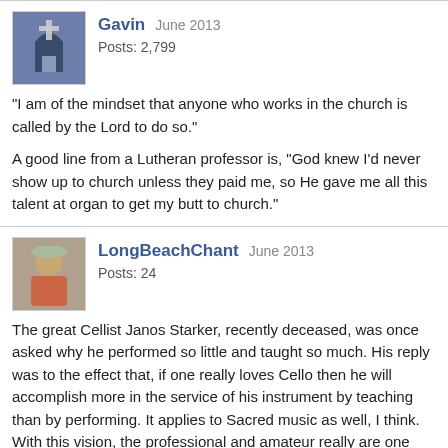Gavin  June 2013
Posts: 2,799
"I am of the mindset that anyone who works in the church is called by the Lord to do so."

A good line from a Lutheran professor is, "God knew I'd never show up to church unless they paid me, so He gave me all this talent at organ to get my butt to church."
LongBeachChant  June 2013
Posts: 24
The great Cellist Janos Starker, recently deceased, was once asked why he performed so little and taught so much. His reply was to the effect that, if one really loves Cello then he will accomplish more in the service of his instrument by teaching than by performing. It applies to Sacred music as well, I think. With this vision, the professional and amateur really are one bloc. They complement each other.
CharlesW  June 2013
Posts: 11,677
A good line from a Lutheran professor is, "God know I'd never show